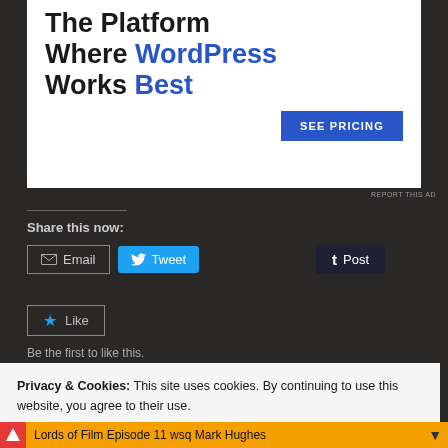[Figure (infographic): WordPress hosting advertisement banner. Large bold text reads 'The Platform Where WordPress Works Best' with 'WordPress' and 'Best' in blue. Blue 'SEE PRICING' button at bottom right.]
REPORT THIS AD
Share this now:
[Figure (infographic): Row of social sharing buttons: Email button with envelope icon, Tweet button in blue with Twitter bird icon, Post button in dark navy with Tumblr 't' icon]
[Figure (infographic): Like button with blue star icon and 'Like' text]
Be the first to like this.
Privacy & Cookies: This site uses cookies. By continuing to use this website, you agree to their use.
To find out more, including how to control cookies, see here: Cookie Policy
Close and accept
Lords of Film Episode 11 wsq Mark Hughes